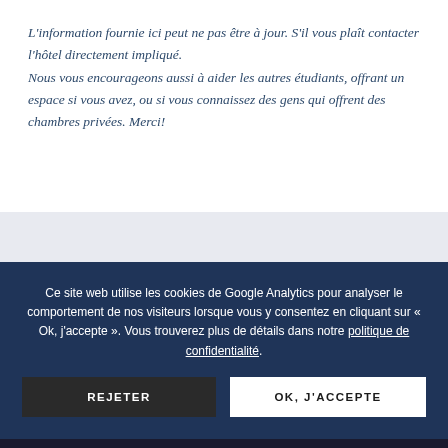L'information fournie ici peut ne pas être à jour. S'il vous plaît contacter l'hôtel directement impliqué. Nous vous encourageons aussi à aider les autres étudiants, offrant un espace si vous avez, ou si vous connaissez des gens qui offrent des chambres privées. Merci!
Ce site web utilise les cookies de Google Analytics pour analyser le comportement de nos visiteurs lorsque vous y consentez en cliquant sur « Ok, j'accepte ». Vous trouverez plus de détails dans notre politique de confidentialité.